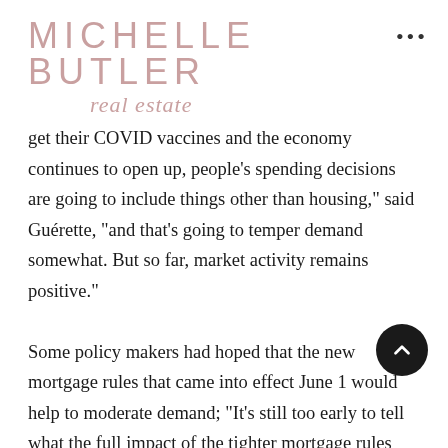MICHELLE BUTLER
real estate
get their COVID vaccines and the economy continues to open up, people's spending decisions are going to include things other than housing,” said Guérette, “and that’s going to temper demand somewhat. But so far, market activity remains positive.”
Some policy makers had hoped that the new mortgage rules that came into effect June 1 would help to moderate demand; “It’s still too early to tell what the full impact of the tighter mortgage rules will be, but they don’t seem to have had any real impact on Saskatchewan markets,” said Guérette. Across the province, sales were still up nearly 18% and prices were